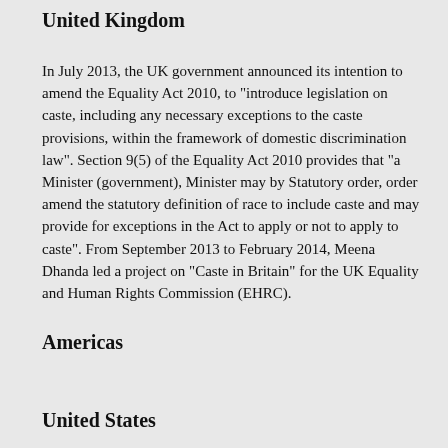United Kingdom
In July 2013, the UK government announced its intention to amend the Equality Act 2010, to "introduce legislation on caste, including any necessary exceptions to the caste provisions, within the framework of domestic discrimination law". Section 9(5) of the Equality Act 2010 provides that "a Minister (government), Minister may by Statutory order, order amend the statutory definition of race to include caste and may provide for exceptions in the Act to apply or not to apply to caste". From September 2013 to February 2014, Meena Dhanda led a project on "Caste in Britain" for the UK Equality and Human Rights Commission (EHRC).
Americas
United States